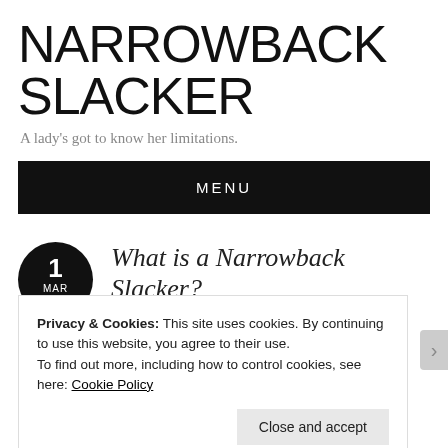NARROWBACK SLACKER
A lady's got to know her limitations.
MENU
1
MAR
2014
What is a Narrowback Slacker?
Privacy & Cookies: This site uses cookies. By continuing to use this website, you agree to their use.
To find out more, including how to control cookies, see here: Cookie Policy
Close and accept